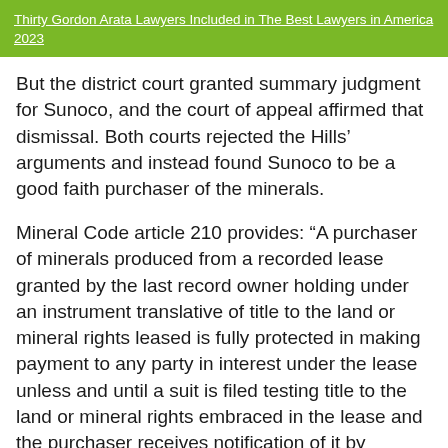Thirty Gordon Arata Lawyers Included in The Best Lawyers in America 2023
But the district court granted summary judgment for Sunoco, and the court of appeal affirmed that dismissal. Both courts rejected the Hills' arguments and instead found Sunoco to be a good faith purchaser of the minerals.
Mineral Code article 210 provides: “A purchaser of minerals produced from a recorded lease granted by the last record owner holding under an instrument translative of title to the land or mineral rights leased is fully protected in making payment to any party in interest under the lease unless and until a suit is filed testing title to the land or mineral rights embraced in the lease and the purchaser receives notification of it by registered mail. The purchaser is not entitled to this protection unless he has filed for